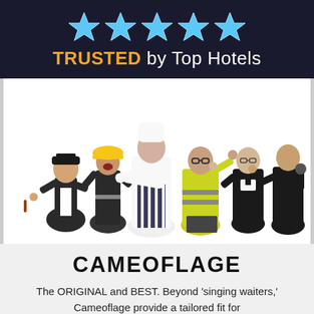[Figure (logo): Five blue and white star icons arranged in a row on a dark navy background with text 'TRUSTED by Top Hotels' below in yellow and white]
[Figure (photo): Group of six men dressed in various costumes including a police officer, firefighter, chef with striped apron, construction worker in high-vis jacket, vicar, and a man in a suit holding a microphone, posing dramatically against a white background]
CAMEOFLAGE
The ORIGINAL and BEST. Beyond 'singing waiters,' Cameoflage provide a tailored fit for